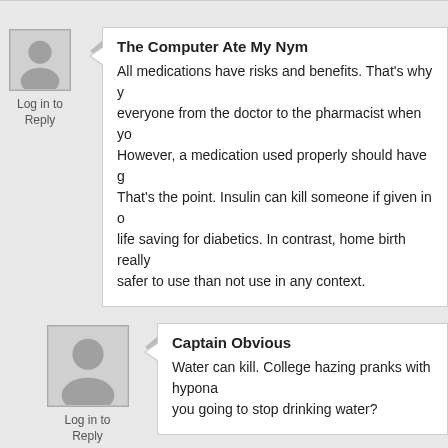The Computer Ate My Nym
All medications have risks and benefits. That's why you consult everyone from the doctor to the pharmacist when you take them. However, a medication used properly should have greater benefits. That's the point. Insulin can kill someone if given in overdose, but is life saving for diabetics. In contrast, home birth really isn't demonstrably safer to use than not use in any context.
Captain Obvious
Water can kill. College hazing pranks with hyponatremia. Are you going to stop drinking water?
Kumquatwriter
So no one should ever seek medical treatment or take medication? Right.